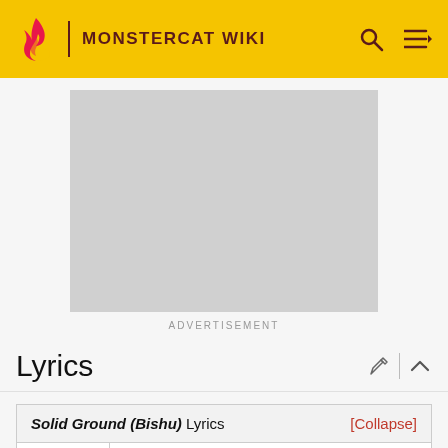MONSTERCAT WIKI
[Figure (other): Advertisement placeholder (grey rectangle)]
ADVERTISEMENT
Lyrics
| Solid Ground (Bishu) Lyrics | [Collapse] |
| --- | --- |
| 1 | Been watchin' you keep it all inside, ahh |